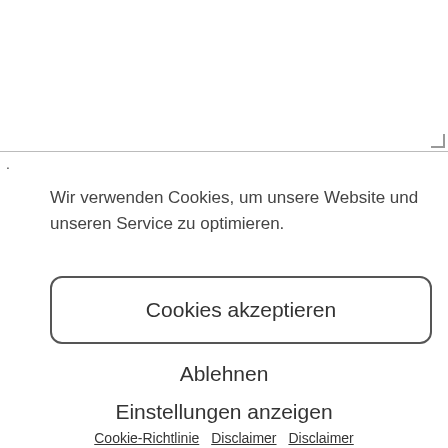[Figure (screenshot): A textarea input box with resize handle at bottom-right, partially visible at top of page.]
.
Wir verwenden Cookies, um unsere Website und unseren Service zu optimieren.
Cookies akzeptieren
Ablehnen
Einstellungen anzeigen
Cookie-Richtlinie   Disclaimer   Disclaimer